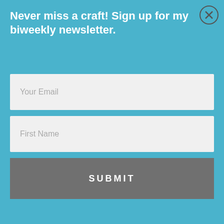Never miss a craft! Sign up for my biweekly newsletter.
Your Email
First Name
SUBMIT
NANCY@SKINNYKITCHEN.COM
September 2, 2013 at 12:56 am Reply
Thanks for hosting and have a wonderful Labor Day, Kayla!